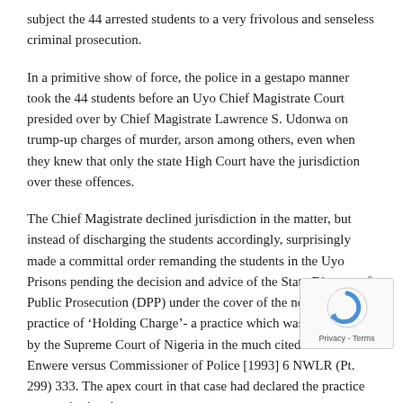subject the 44 arrested students to a very frivolous and senseless criminal prosecution.
In a primitive show of force, the police in a gestapo manner took the 44 students before an Uyo Chief Magistrate Court presided over by Chief Magistrate Lawrence S. Udonwa on trump-up charges of murder, arson among others, even when they knew that only the state High Court have the jurisdiction over these offences.
The Chief Magistrate declined jurisdiction in the matter, but instead of discharging the students accordingly, surprisingly made a committal order remanding the students in the Uyo Prisons pending the decision and advice of the State Director of Public Prosecution (DPP) under the cover of the notorious practice of ‘Holding Charge’- a practice which was deprecated by the Supreme Court of Nigeria in the much cited case of Enwere versus Commissioner of Police [1993] 6 NWLR (Pt. 299) 333. The apex court in that case had declared the practice unconstitutional.
Following the remand order, the 44 affected students were incarcerated in prison custody for several months over what they